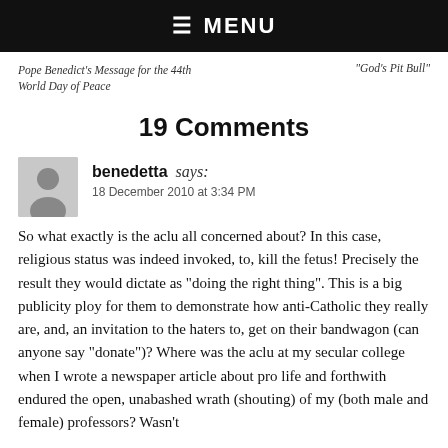☰ MENU
Pope Benedict's Message for the 44th World Day of Peace	"God's Pit Bull"
19 Comments
benedetta says:
18 December 2010 at 3:34 PM
So what exactly is the aclu all concerned about? In this case, religious status was indeed invoked, to, kill the fetus! Precisely the result they would dictate as "doing the right thing". This is a big publicity ploy for them to demonstrate how anti-Catholic they really are, and, an invitation to the haters to, get on their bandwagon (can anyone say "donate")? Where was the aclu at my secular college when I wrote a newspaper article about pro life and forthwith endured the open, unabashed wrath (shouting) of my (both male and female) professors? Wasn't